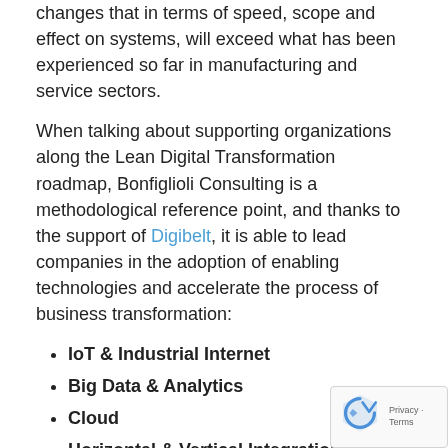changes that in terms of speed, scope and effect on systems, will exceed what has been experienced so far in manufacturing and service sectors.
When talking about supporting organizations along the Lean Digital Transformation roadmap, Bonfiglioli Consulting is a methodological reference point, and thanks to the support of Digibelt, it is able to lead companies in the adoption of enabling technologies and accelerate the process of business transformation:
IoT & Industrial Internet
Big Data & Analytics
Cloud
Horizontal & Vertical Integration
Simulation
The digitalization process becomes also an opportunity for process optimization and corporate culture development. Bonfiglioli Consulting has accompanied its...